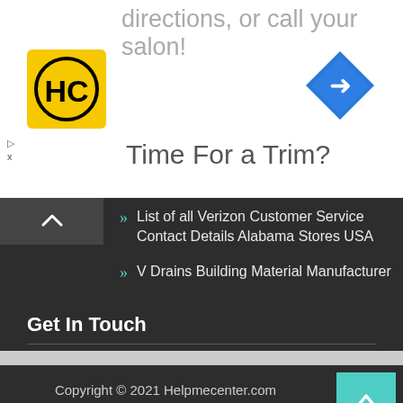directions, or call your salon!
[Figure (logo): HC logo — yellow square with black HC letters in circular style]
[Figure (other): Blue diamond navigation icon with right-turn arrow]
Time For a Trim?
List of all Verizon Customer Service Contact Details Alabama Stores USA
V Drains Building Material Manufacturer
Get In Touch
[Figure (infographic): Row of 5 social media icon buttons: Facebook, Instagram, Link, YouTube, Pinterest]
Copyright © 2021 Helpmecenter.com Business Era by ProDesigns